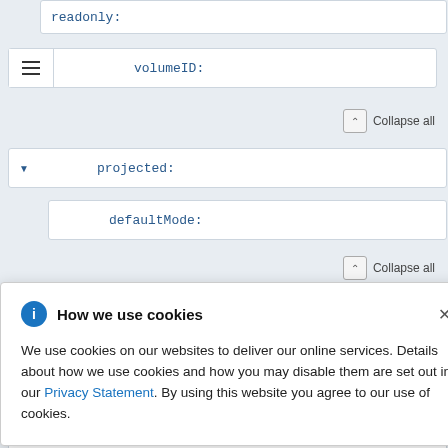[Figure (screenshot): API documentation UI showing collapsible schema fields: readonly, volumeID, projected, defaultMode with collapse/expand controls]
readonly:
volumeID:
Collapse all
projected:
defaultMode:
Collapse all
Collapse all
Collapse all
- items:
How we use cookies
We use cookies on our websites to deliver our online services. Details about how we use cookies and how you may disable them are set out in our Privacy Statement. By using this website you agree to our use of cookies.